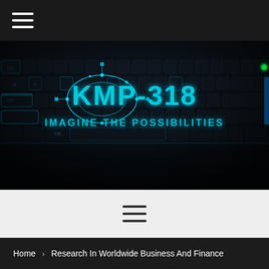☰ (hamburger menu icon, top-left navigation)
[Figure (photo): Dark gaming keyboard with blue backlit keys filling the hero banner area. In the center overlaid is the KMP-318 logo with circuit-board style graphic and tagline 'IMAGINE THE POSSIBILITIES' in cyan/teal metallic lettering.]
☰ (hamburger menu icon, centered, on light gray navigation bar)
Home > Research In Worldwide Business And Finance